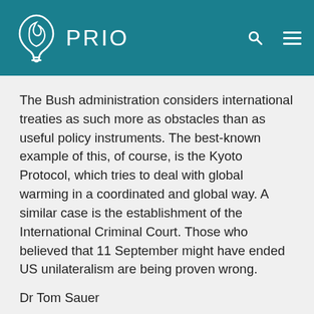PRIO
The Bush administration considers international treaties as such more as obstacles than as useful policy instruments. The best-known example of this, of course, is the Kyoto Protocol, which tries to deal with global warming in a coordinated and global way. A similar case is the establishment of the International Criminal Court. Those who believed that 11 September might have ended US unilateralism are being proven wrong.
Dr Tom Sauer
Department of Politics
Catholic University of Leuven, Belgium
NOTE